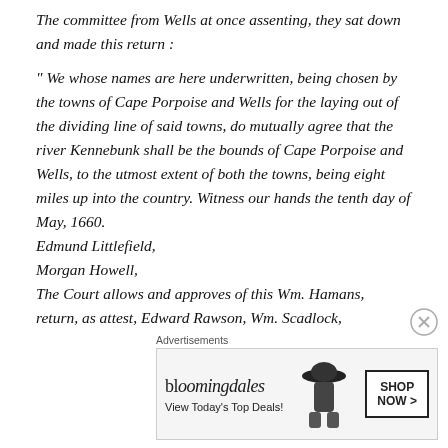The committee from Wells at once assenting, they sat down and made this return :
" We whose names are here underwritten, being chosen by the towns of Cape Porpoise and Wells for the laying out of the dividing line of said towns, do mutually agree that the river Kennebunk shall be the bounds of Cape Porpoise and Wells, to the utmost extent of both the towns, being eight miles up into the country. Witness our hands the tenth day of May, 1660. Edmund Littlefield, Morgan Howell, The Court allows and approves of this Wm. Hamans, return, as attest, Edward Rawson, Wm. Scadlock,
[Figure (other): Bloomingdale's advertisement banner with logo, 'View Today's Top Deals!' text, image of woman with wide-brim hat, and 'SHOP NOW >' button.]